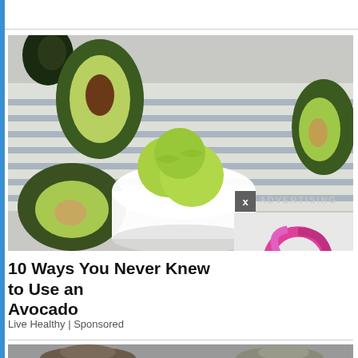[Figure (photo): Avocado ice cream in a white bowl surrounded by avocado halves on a striped cloth background, with an advertisement overlay showing Ureka Media logo and Vietnamese text 'Xem Thêm']
10 Ways You Never Knew to Use an Avocado
Live Healthy | Sponsored
[Figure (photo): Two cats visible at the bottom of the page, partially cropped]